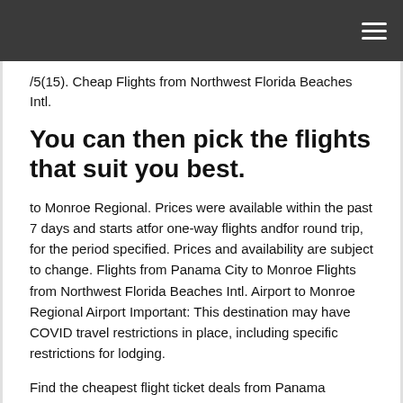/5(15). Cheap Flights from Northwest Florida Beaches Intl.
You can then pick the flights that suit you best.
to Monroe Regional. Prices were available within the past 7 days and starts atfor one-way flights andfor round trip, for the period specified. Prices and availability are subject to change. Flights from Panama City to Monroe Flights from Northwest Florida Beaches Intl. Airport to Monroe Regional Airport Important: This destination may have COVID travel restrictions in place, including specific restrictions for lodging.
Find the cheapest flight ticket deals from Panama